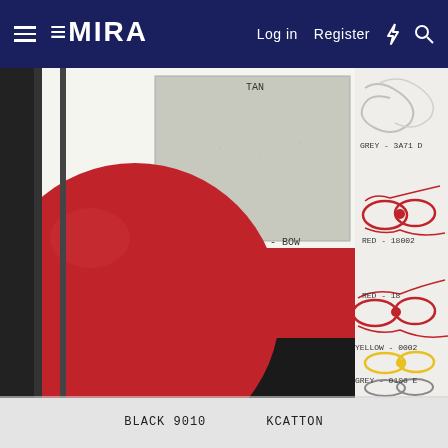EMIRA  Log in  Register
[Figure (photo): A flat-lay design mood board showing fabric swatches and thread samples. Includes a large red circular leather swatch, a grey leather swatch labeled 'TAN' and 'GREY - BOW', a red fabric swatch labeled 'GREY - BOW', and a black fabric swatch. Thread spools/knots in red labeled 'RED - 18002', red labeled 'RED - 18', yellow labeled 'YELLOW - 0002', and grey labeled 'GREY - 0106E'. Handwritten annotations throughout.]
BLACK 9010    KCATTON